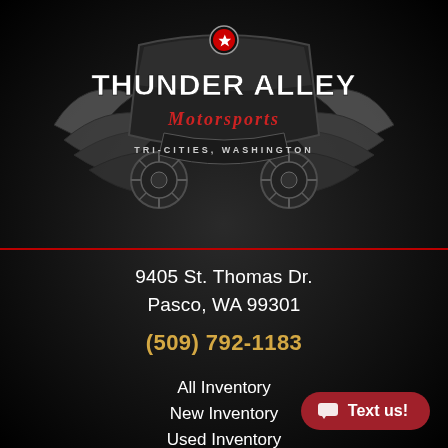[Figure (logo): Thunder Alley Motorsports logo with wings, banner, and text 'Tri-Cities, Washington']
9405 St. Thomas Dr.
Pasco, WA 99301
(509) 792-1183
All Inventory
New Inventory
Used Inventory
Secure Financing
Service Department
Parts Department
Contact Us
Text us!